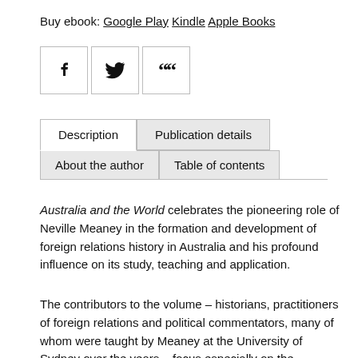Buy ebook: Google Play Kindle Apple Books
[Figure (other): Social sharing icons: Facebook, Twitter, Quote/Cite]
Description | Publication details | About the author | Table of contents
Australia and the World celebrates the pioneering role of Neville Meaney in the formation and development of foreign relations history in Australia and his profound influence on its study, teaching and application.
The contributors to the volume – historians, practitioners of foreign relations and political commentators, many of whom were taught by Meaney at the University of Sydney over the years – focus especially on the interaction between